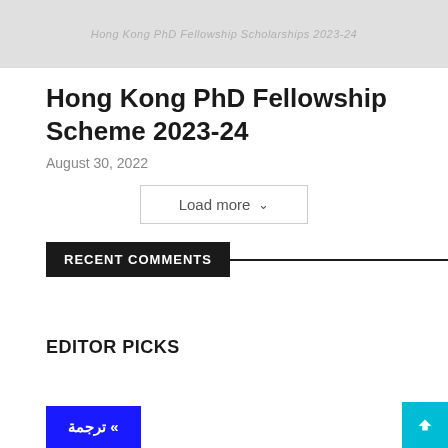[Figure (photo): Gray background image, partially visible at the top of the page, appears to be a banner or header image for an article about fellowships/scholarships.]
Hong Kong PhD Fellowship Scheme 2023-24
August 30, 2022
Load more ∨
RECENT COMMENTS
EDITOR PICKS
» ترجمة